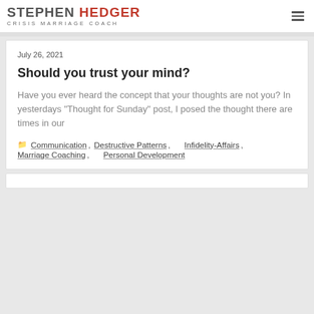STEPHEN HEDGER CRISIS MARRIAGE COACH
July 26, 2021
Should you trust your mind?
Have you ever heard the concept that your thoughts are not you? In yesterdays "Thought for Sunday" post, I posed the thought there are times in our
Communication, Destructive Patterns, Infidelity-Affairs, Marriage Coaching, Personal Development